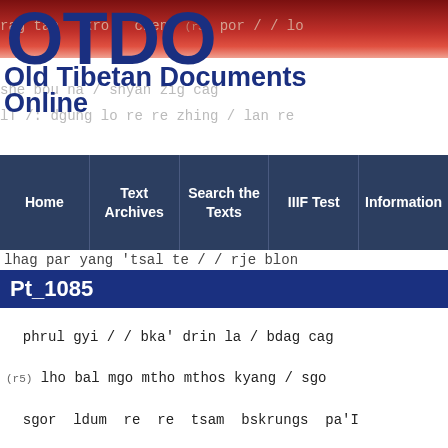[Figure (screenshot): OTDO website header with red/dark background, large OTDO logo letters, subtitle 'Old Tibetan Documents Online', navigation bar with Home, Text Archives, Search the Texts, IIIF Test, Information, and Pt_1085 banner]
lhag par yang 'tsal te / / rje blon
Pt_1085
phrul gyi / / bka' drin la / bdag cag (r5) lho bal mgo mtho mthos kyang / sgo sgor ldum re re tsam bskrungs pa'I thog / lo thang bla skyes ye ma byung bar (r6) rtse rje dagIs rtag du ra mar gnon cing phrogs pa stams las bchad cing mcis na / slan chad 'bangs kyi